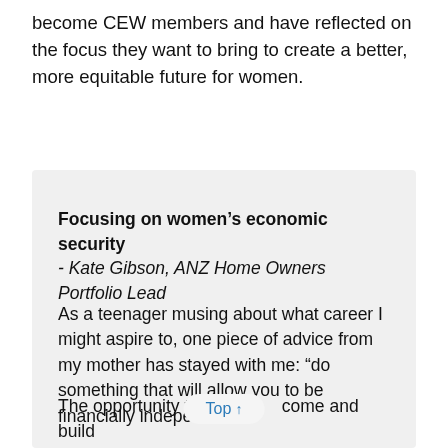become CEW members and have reflected on the focus they want to bring to create a better, more equitable future for women.
Focusing on women's economic security - Kate Gibson, ANZ Home Owners Portfolio Lead
As a teenager musing about what career I might aspire to, one piece of advice from my mother has stayed with me: “do something that will allow you to be financially independent”.
The opportunity to earn an income and build sufficient retirement savings to live comfortably is